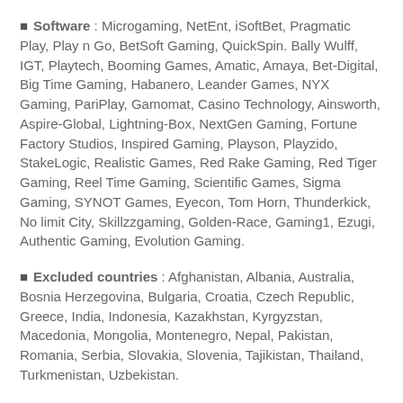Software : Microgaming, NetEnt, iSoftBet, Pragmatic Play, Play n Go, BetSoft Gaming, QuickSpin. Bally Wulff, IGT, Playtech, Booming Games, Amatic, Amaya, Bet-Digital, Big Time Gaming, Habanero, Leander Games, NYX Gaming, PariPlay, Gamomat, Casino Technology, Ainsworth, Aspire-Global, Lightning-Box, NextGen Gaming, Fortune Factory Studios, Inspired Gaming, Playson, Playzido, StakeLogic, Realistic Games, Red Rake Gaming, Red Tiger Gaming, Reel Time Gaming, Scientific Games, Sigma Gaming, SYNOT Games, Eyecon, Tom Horn, Thunderkick, No limit City, Skillzzgaming, Golden-Race, Gaming1, Ezugi, Authentic Gaming, Evolution Gaming.
Excluded countries : Afghanistan, Albania, Australia, Bosnia Herzegovina, Bulgaria, Croatia, Czech Republic, Greece, India, Indonesia, Kazakhstan, Kyrgyzstan, Macedonia, Mongolia, Montenegro, Nepal, Pakistan, Romania, Serbia, Slovakia, Slovenia, Tajikistan, Thailand, Turkmenistan, Uzbekistan.